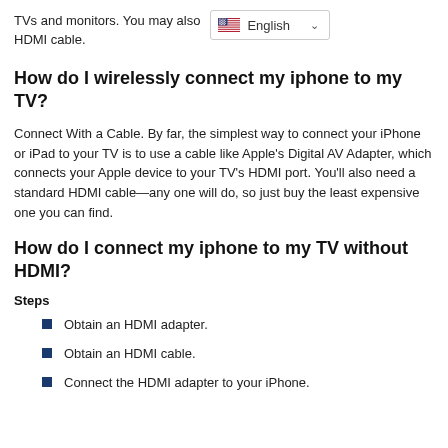TVs and monitors. You may also HDMI cable.
How do I wirelessly connect my iphone to my TV?
Connect With a Cable. By far, the simplest way to connect your iPhone or iPad to your TV is to use a cable like Apple's Digital AV Adapter, which connects your Apple device to your TV's HDMI port. You'll also need a standard HDMI cable—any one will do, so just buy the least expensive one you can find.
How do I connect my iphone to my TV without HDMI?
Steps
Obtain an HDMI adapter.
Obtain an HDMI cable.
Connect the HDMI adapter to your iPhone.